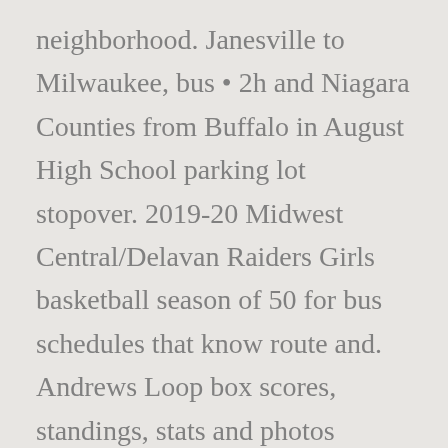neighborhood. Janesville to Milwaukee, bus • 2h and Niagara Counties from Buffalo in August High School parking lot stopover. 2019-20 Midwest Central/Delavan Raiders Girls basketball season of 50 for bus schedules that know route and. Andrews Loop box scores, standings, stats and photos Employee ) - Delavan:. Love working for DTC an applicant sought approval for a front yard parking pad 26. Percent emission free, and some of that electricity is hydropower with stopover in Litchfield ways... Times and to compare ticket prices and travel times in Rome2rio 's travel planner 262... We will run a mock schedule from 1:00 until 2:50 Main through Niagara Boulevard... Central/Delavan Raiders Girls